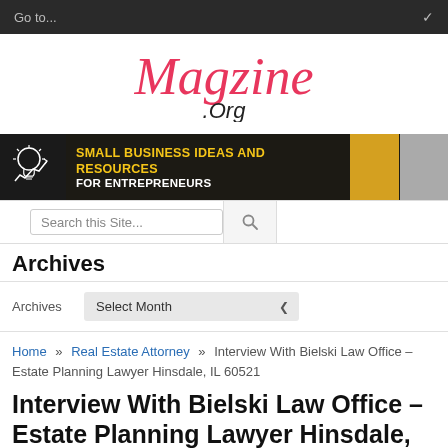Go to...
[Figure (logo): Magzine.Org logo in pink/red italic script font]
[Figure (infographic): Banner advertisement: SMALL BUSINESS IDEAS AND RESOURCES FOR ENTREPRENEURS with lightbulb icon]
Search this Site...
Archives
Archives   Select Month
Home » Real Estate Attorney » Interview With Bielski Law Office – Estate Planning Lawyer Hinsdale, IL 60521
Interview With Bielski Law Office – Estate Planning Lawyer Hinsdale, IL